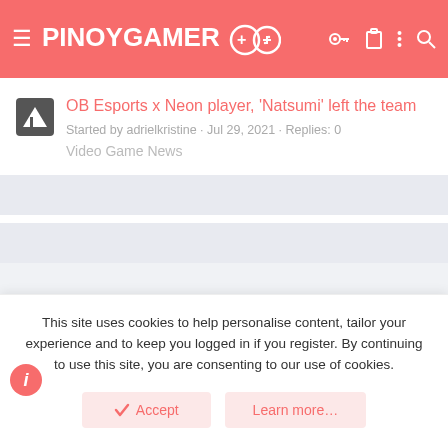PINOYGAMER+ [logo with game controller icons]
OB Esports x Neon player, 'Natsumi' left the team
Started by adrielkristine · Jul 29, 2021 · Replies: 0
Video Game News
Contact us  Terms and rules  Privacy policy  Help
Forum software by XenForo® © 2010-2020 XenForo Ltd. | Style and add-ons
This site uses cookies to help personalise content, tailor your experience and to keep you logged in if you register. By continuing to use this site, you are consenting to our use of cookies.